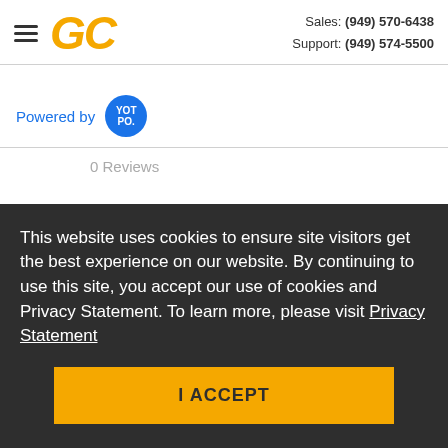Sales: (949) 570-6438  Support: (949) 574-5500
[Figure (logo): GC logo in gold/yellow italic text]
Powered by YOTPO
0 Reviews
This website uses cookies to ensure site visitors get the best experience on our website. By continuing to use this site, you accept our use of cookies and Privacy Statement. To learn more, please visit Privacy Statement
I ACCEPT